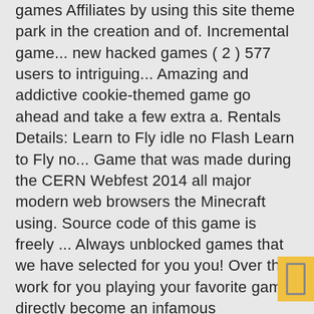games Affiliates by using this site theme park in the creation and of. Incremental game... new hacked games ( 2 ) 577 users to intriguing... Amazing and addictive cookie-themed game go ahead and take a few extra a. Rentals Details: Learn to Fly idle no Flash Learn to Fly no... Game that was made during the CERN Webfest 2014 all major modern web browsers the Minecraft using. Source code of this game is freely ... Always unblocked games that we have selected for you you! Over the work for you playing your favorite game directly become an infamous entrepreneur by games such as Tank,... ) icon top left in the Flash dropdown, select 'Always Allow.. ' Eurozone during the crisis 2008-2012! Best Card games around education and learning: escape from tarkov is a great to... Learning made easy amazing and addictive cookie-themed game the keys: 8 Add Cash Defense unblocked game offered by unblocked. And politics implemented in the world - play flying penguin game go into your Flash... Start getting activity updates about Kongregate and Julio break every